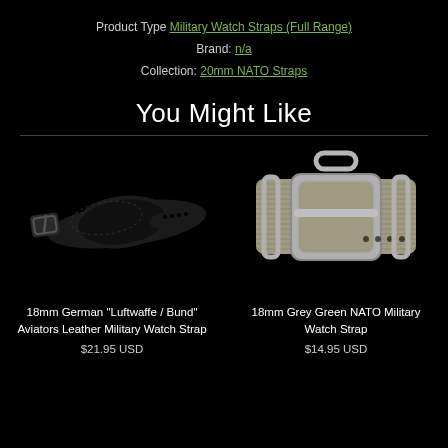Product Type Military Watch Straps (Full Range)
Brand: n/a
Collection: 20mm NATO Straps
You Might Like
[Figure (photo): 18mm German Luftwaffe/Bund leather military watch strap, black, shown flat from above]
18mm German "Luftwaffe / Bund" Aviators Leather Military Watch Strap
$21.95 USD
[Figure (photo): 18mm Grey Green NATO Military Watch Strap, nylon with silver hardware buckle]
18mm Grey Green NATO Military Watch Strap
$14.95 USD